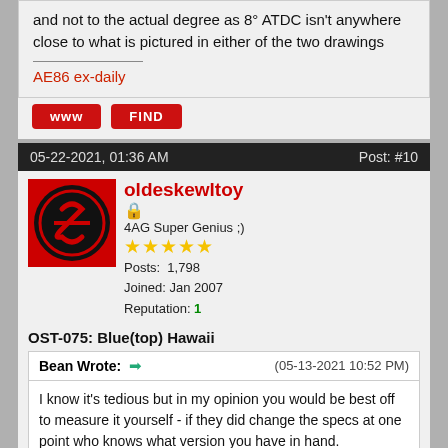close to what is pictured in either of the two drawings
AE86 ex-daily
[Figure (other): WWW button (red rounded rectangle)]
[Figure (other): FIND button (red rounded rectangle)]
05-22-2021, 01:36 AM   Post: #10
[Figure (logo): User avatar: red square with black circle and stylized S logo for oldeskewltoy]
oldeskewltoy
4AG Super Genius ;)
★★★★★
Posts: 1,798
Joined: Jan 2007
Reputation: 1
OST-075: Blue(top) Hawaii
Bean Wrote: ➡ (05-13-2021 10:52 PM)
I know it's tedious but in my opinion you would be best off to measure it yourself - if they did change the specs at one point who knows what version you have in hand.

EDIT: as for the illustration it looks intended as an abstract and not to the actual degree as 8° ATDC isn't anywhere close to what is pictured in either of the two drawings
Agreed, I set clearances to .006" on the intake side, and